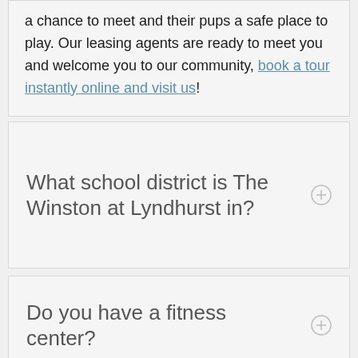a chance to meet and their pups a safe place to play. Our leasing agents are ready to meet you and welcome you to our community, book a tour instantly online and visit us!
What school district is The Winston at Lyndhurst in?
Do you have a fitness center?
Do you have